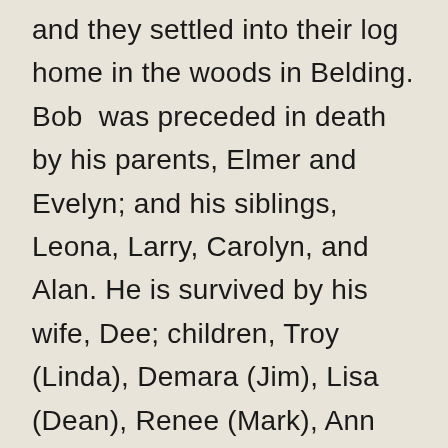and they settled into their log home in the woods in Belding. Bob was preceded in death by his parents, Elmer and Evelyn; and his siblings, Leona, Larry, Carolyn, and Alan. He is survived by his wife, Dee; children, Troy (Linda), Demara (Jim), Lisa (Dean), Renee (Mark), Ann and David; 19 grandchildren, 20 great-grandchildren; sister-in-law, Barb; several nieces and nephews; and many special friends. Visitation will be held 4-